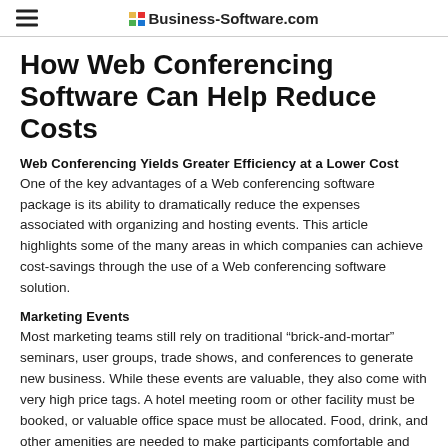Business-Software.com
How Web Conferencing Software Can Help Reduce Costs
Web Conferencing Yields Greater Efficiency at a Lower Cost
One of the key advantages of a Web conferencing software package is its ability to dramatically reduce the expenses associated with organizing and hosting events. This article highlights some of the many areas in which companies can achieve cost-savings through the use of a Web conferencing software solution.
Marketing Events
Most marketing teams still rely on traditional “brick-and-mortar” seminars, user groups, trade shows, and conferences to generate new business. While these events are valuable, they also come with very high price tags. A hotel meeting room or other facility must be booked, or valuable office space must be allocated. Food, drink, and other amenities are needed to make participants comfortable and relaxed.